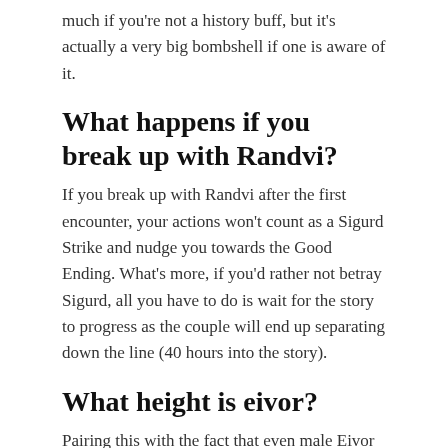much if you're not a history buff, but it's actually a very big bombshell if one is aware of it.
What happens if you break up with Randvi?
If you break up with Randvi after the first encounter, your actions won't count as a Sigurd Strike and nudge you towards the Good Ending. What's more, if you'd rather not betray Sigurd, all you have to do is wait for the story to progress as the couple will end up separating down the line (40 hours into the story).
What height is eivor?
Pairing this with the fact that even male Eivor stands as the shortest man in most cutscenes that the interchangeable character averages around 5 feet and 6 inches tall.